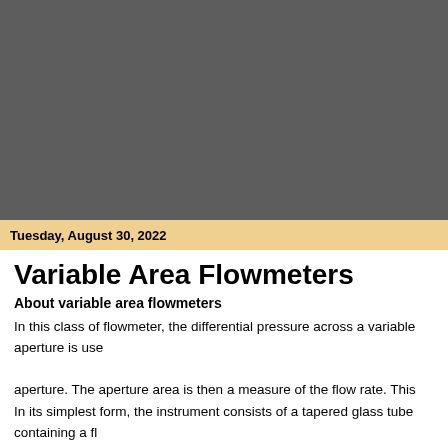Tuesday, August 30, 2022
Variable Area Flowmeters
About variable area flowmeters
In this class of flowmeter, the differential pressure across a variable aperture is used to maintain a constant pressure drop, by varying the size of the aperture. The aperture area is then a measure of the flow rate. This type of instrument only provides a visual indication of flow rate, and so is of no use in automatic control schemes. However, they are cheap and used extensively throughout the industry. In fact, variable area meters account for 20% of all flowmeters sold. Recently, fiber optics have been incorporated into variable area flowmeters so that the position of the float is detected by a row of fibers which sense the reflection of light from the float.
In its simplest form, the instrument consists of a tapered glass tube containing a float...